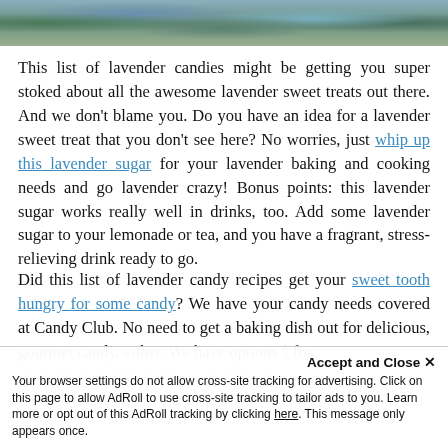[Figure (photo): Lavender flowers photo strip at the top of the page, showing purple/blue lavender blooms with green foliage]
This list of lavender candies might be getting you super stoked about all the awesome lavender sweet treats out there. And we don't blame you. Do you have an idea for a lavender sweet treat that you don't see here? No worries, just whip up this lavender sugar for your lavender baking and cooking needs and go lavender crazy! Bonus points: this lavender sugar works really well in drinks, too. Add some lavender sugar to your lemonade or tea, and you have a fragrant, stress-relieving drink ready to go.
Did this list of lavender candy recipes get your sweet tooth hungry for some candy? We have your candy needs covered at Candy Club. No need to get a baking dish out for delicious, gourmet candy, either. We have options for your candy fiends and those looking to
Accept and Close ✕
Your browser settings do not allow cross-site tracking for advertising. Click on this page to allow AdRoll to use cross-site tracking to tailor ads to you. Learn more or opt out of this AdRoll tracking by clicking here. This message only appears once.